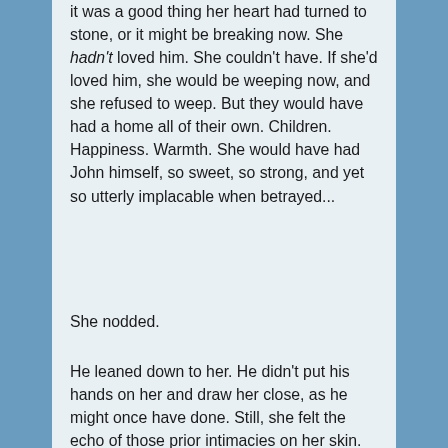it was a good thing her heart had turned to stone, or it might be breaking now. She hadn't loved him. She couldn't have. If she'd loved him, she would be weeping now, and she refused to weep. But they would have had a home all of their own. Children. Happiness. Warmth. She would have had John himself, so sweet, so strong, and yet so utterly implacable when betrayed...
She nodded.
He leaned down to her. He didn't put his hands on her and draw her close, as he might once have done. Still, she felt the echo of those prior intimacies on her skin. On her lips, tingling with his nearness.
He was going to kiss her one last time. She'd yearned for his kisses before, but she didn't want one now.